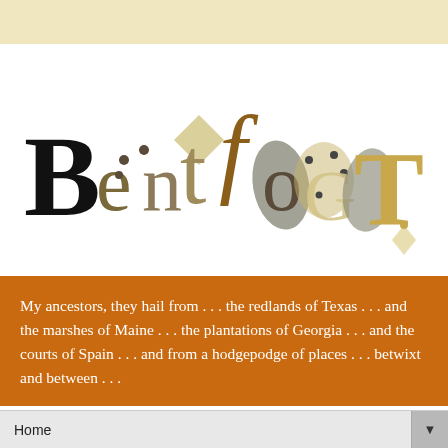[Figure (logo): Bentfoot decorative logo with mixed typography letters in brown, tan, khaki, and dark tones on white background]
My ancestors, they hail from . . . the redlands of Texas . . . and the marshes of Maine . . . the plantations of Georgia . . . and the courts of Spain . . . and from a hodgepodge of places . . . betwixt and between . . .
Home